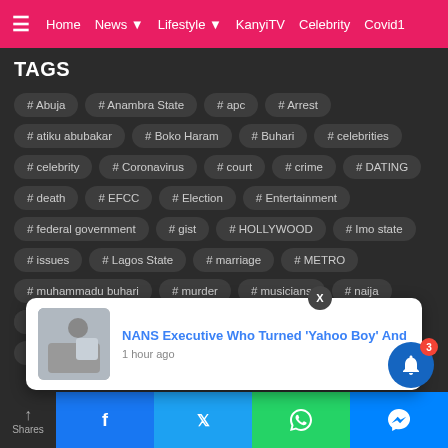≡ Home  News ▾  Lifestyle ▾  KanyiTV  Celebrity  Covid19
TAGS
# Abuja
# Anambra State
# apc
# Arrest
# atiku abubakar
# Boko Haram
# Buhari
# celebrities
# celebrity
# Coronavirus
# court
# crime
# DATING
# death
# EFCC
# Election
# Entertainment
# federal government
# gist
# HOLLYWOOD
# Imo state
# issues
# Lagos State
# marriage
# METRO
# muhammadu buhari
# murder
# musicians
# naija
# News
# Nigeria
# nigerians
# PDP
# photos
# PHOTOSPEAKS
# police
# Politics
# Presidency
# Relationship
# Video
[Figure (screenshot): Popup notification: 'NANS Executive Who Turned Yahoo Boy And' with thumbnail image and '1 hour ago' timestamp]
Shares | Facebook | Twitter | WhatsApp | Messenger